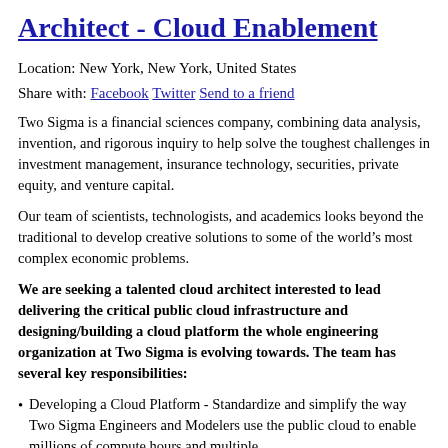Architect - Cloud Enablement
Location: New York, New York, United States
Share with: Facebook Twitter Send to a friend
Two Sigma is a financial sciences company, combining data analysis, invention, and rigorous inquiry to help solve the toughest challenges in investment management, insurance technology, securities, private equity, and venture capital.
Our team of scientists, technologists, and academics looks beyond the traditional to develop creative solutions to some of the world’s most complex economic problems.
We are seeking a talented cloud architect interested to lead delivering the critical public cloud infrastructure and designing/building a cloud platform the whole engineering organization at Two Sigma is evolving towards. The team has several key responsibilities:
Developing a Cloud Platform - Standardize and simplify the way Two Sigma Engineers and Modelers use the public cloud to enable millions of compute hours and multiple